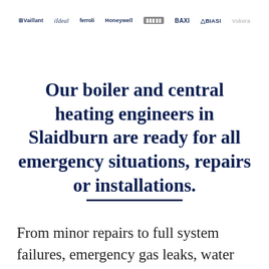Vaillant  iIdeal  ferroli  Honeywell  [GLOW]  BAXI  △BIASI  Vokera
Our boiler and central heating engineers in Slaidburn are ready for all emergency situations, repairs or installations.
From minor repairs to full system failures, emergency gas leaks, water